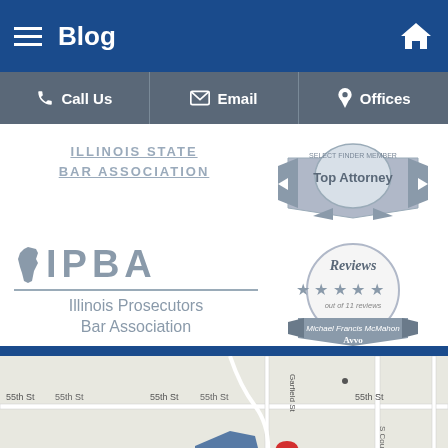Blog
Call Us | Email | Offices
[Figure (logo): Illinois State Bar Association logo with text ILLINOIS STATE BAR ASSOCIATION]
[Figure (logo): Top Attorney badge]
[Figure (logo): IPBA Illinois Prosecutors Bar Association logo]
[Figure (logo): Avvo Reviews badge - 5 stars, out of 11 reviews, Michael Francis McMahon]
[Figure (map): Google Maps showing area near Ruth Lake Country Club with a red location pin marker and blue highlighted region, streets including 55th St]